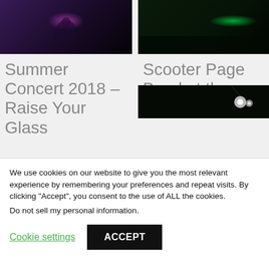[Figure (photo): Concert photo left - purple stage lighting, performer on stage]
[Figure (photo): Concert photo right - green stage lighting, dark venue]
Summer Concert 2018 – Raise Your Glass
Scooter Page Band at the Viper Room
[Figure (photo): Concert photo bottom right - dark stage with spotlight]
We use cookies on our website to give you the most relevant experience by remembering your preferences and repeat visits. By clicking "Accept", you consent to the use of ALL the cookies.
Do not sell my personal information.
Cookie settings
ACCEPT